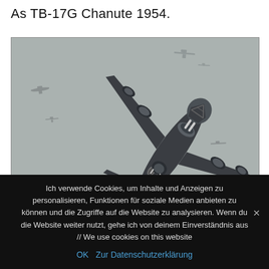As TB-17G Chanute 1954.
[Figure (illustration): Grayscale illustration of a WWII-era B-17 bomber aircraft viewed from below/front quarter angle, with multiple smaller aircraft visible in the background against a grey sky.]
Ich verwende Cookies, um Inhalte und Anzeigen zu personalisieren, Funktionen für soziale Medien anbieten zu können und die Zugriffe auf die Website zu analysieren. Wenn du die Website weiter nutzt, gehe ich von deinem Einverständnis aus // We use cookies on this website
OK   Zur Datenschutzerklärung